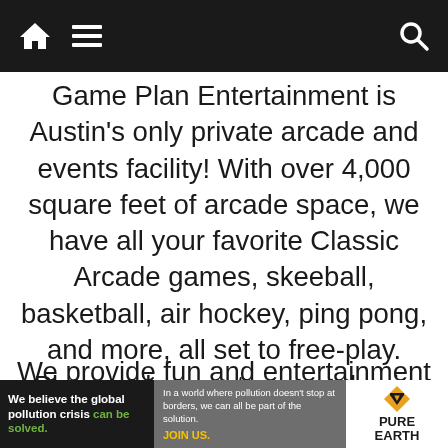Navigation bar with home, menu, and search icons
Game Plan Entertainment is Austin's only private arcade and events facility! With over 4,000 square feet of arcade space, we have all your favorite Classic Arcade games, skeeball, basketball, air hockey, ping pong, and more, all set to free-play. Plus, we have retro consoles in addition to the latest gaming consoles, such as the Xbox One, PS4, and Wii U with all of the best games.
We provide fun and entertainment for all
[Figure (infographic): Advertisement banner: 'We believe the global pollution crisis can be solved.' with Pure Earth logo and text about pollution not stopping at borders.]